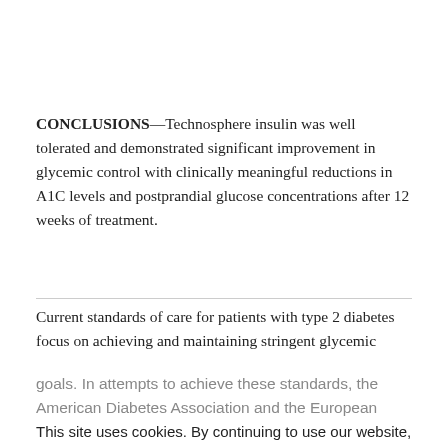CONCLUSIONS—Technosphere insulin was well tolerated and demonstrated significant improvement in glycemic control with clinically meaningful reductions in A1C levels and postprandial glucose concentrations after 12 weeks of treatment.
Current standards of care for patients with type 2 diabetes focus on achieving and maintaining stringent glycemic goals. In attempts to achieve these standards, the American Diabetes Association and the European Association for the Study of Diabetes issued a consensus algorithm for type 2 diabetes management...
This site uses cookies. By continuing to use our website, you are agreeing to our privacy policy. Accept